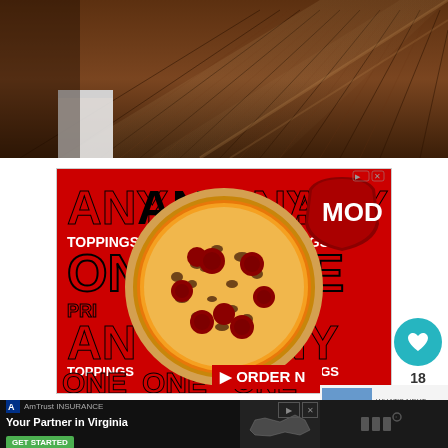[Figure (photo): Hardwood floor interior room photo at top of page]
[Figure (photo): MOD Pizza advertisement showing pizza with pepperoni and toppings on red background with ANY TOPPINGS ONE PRICE text and ORDER NOW button]
[Figure (infographic): Social sidebar with heart icon showing 18 likes and share button]
[Figure (photo): What's Next panel showing One Day in Montreal thumbnail]
[Figure (infographic): AmTrust Insurance advertisement - Your Partner in Virginia - GET STARTED button with Virginia state silhouette]